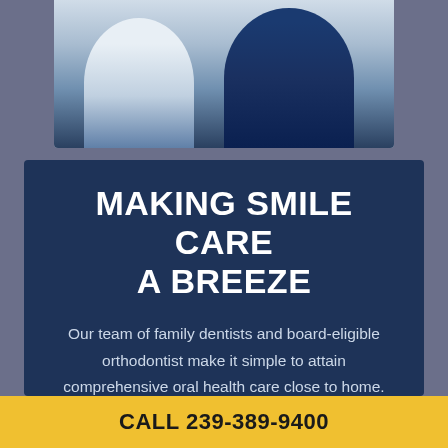[Figure (photo): Two people standing together, one in a white top and one in a dark navy top, photographed from torso down]
MAKING SMILE CARE A BREEZE
Our team of family dentists and board-eligible orthodontist make it simple to attain comprehensive oral health care close to home. Now, there's no need to keep putting your check-up or filling off. Especially since you can sleep right through
CALL 239-389-9400